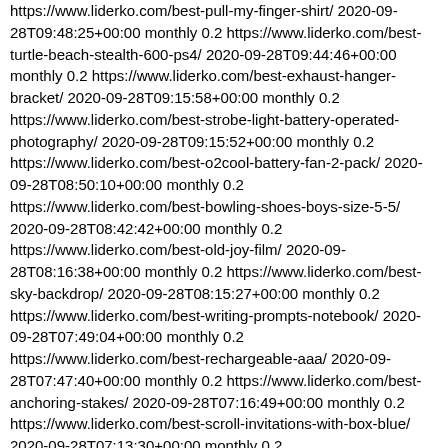https://www.liderko.com/best-pull-my-finger-shirt/ 2020-09-28T09:48:25+00:00 monthly 0.2 https://www.liderko.com/best-turtle-beach-stealth-600-ps4/ 2020-09-28T09:44:46+00:00 monthly 0.2 https://www.liderko.com/best-exhaust-hanger-bracket/ 2020-09-28T09:15:58+00:00 monthly 0.2 https://www.liderko.com/best-strobe-light-battery-operated-photography/ 2020-09-28T09:15:52+00:00 monthly 0.2 https://www.liderko.com/best-o2cool-battery-fan-2-pack/ 2020-09-28T08:50:10+00:00 monthly 0.2 https://www.liderko.com/best-bowling-shoes-boys-size-5-5/ 2020-09-28T08:42:42+00:00 monthly 0.2 https://www.liderko.com/best-old-joy-film/ 2020-09-28T08:16:38+00:00 monthly 0.2 https://www.liderko.com/best-sky-backdrop/ 2020-09-28T08:15:27+00:00 monthly 0.2 https://www.liderko.com/best-writing-prompts-notebook/ 2020-09-28T07:49:04+00:00 monthly 0.2 https://www.liderko.com/best-rechargeable-aaa/ 2020-09-28T07:47:40+00:00 monthly 0.2 https://www.liderko.com/best-anchoring-stakes/ 2020-09-28T07:16:49+00:00 monthly 0.2 https://www.liderko.com/best-scroll-invitations-with-box-blue/ 2020-09-28T07:13:30+00:00 monthly 0.2 https://www.liderko.com/best-benchmade-940-1-deep-carry/ 2020-09-28T06:47:24+00:00 monthly 0.2 https://www.liderko.com/best-big-buck-hunter-ps4/ 2020-09-28T06:41:58+00:00 monthly 0.2 https://www.liderko.com/best-multivitamin-gummies-sundown/ 2020-09-28T06:12:59+00:00 monthly 0.2 https://www.liderko.com/best-garlic-powder-big-bag/